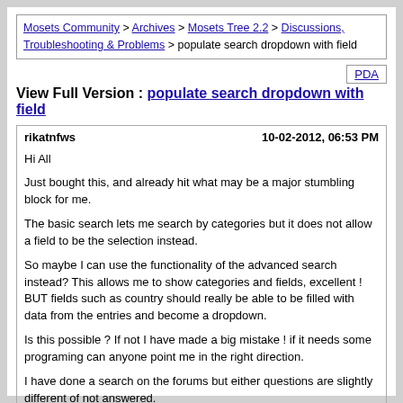Mosets Community > Archives > Mosets Tree 2.2 > Discussions, Troubleshooting & Problems > populate search dropdown with field
View Full Version : populate search dropdown with field
rikatnfws
10-02-2012, 06:53 PM

Hi All

Just bought this, and already hit what may be a major stumbling block for me.

The basic search lets me search by categories but it does not allow a field to be the selection instead.

So maybe I can use the functionality of the advanced search instead? This allows me to show categories and fields, excellent ! BUT fields such as country should really be able to be filled with data from the entries and become a dropdown.

Is this possible ? If not I have made a big mistake ! if it needs some programing can anyone point me in the right direction.

I have done a search on the forums but either questions are slightly different of not answered.

Thank you in advance for any kind assistance in my plight !
rikatnfws
10-10-2012, 04:35 PM

I was hoping someone had come across this, gutted a little I may have made a mistake :(